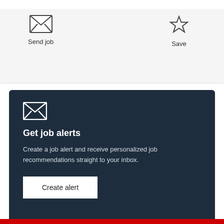[Figure (screenshot): Top white bar with rounded input box border visible at top of page]
Send job
Save
Get job alerts
Create a job alert and receive personalized job recommendations straight to your inbox.
Create alert